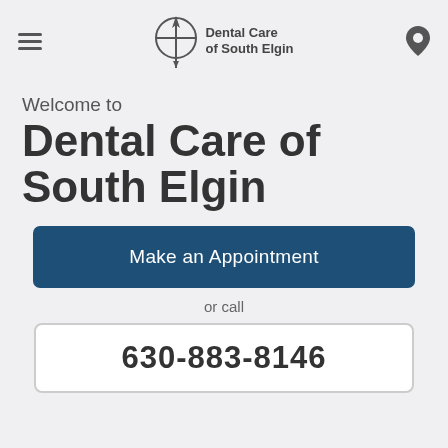[Figure (logo): Dental Care of South Elgin logo with tooth/compass icon and text 'Dental Care of South Elgin']
Welcome to
Dental Care of South Elgin
Make an Appointment
or call
630-883-8146